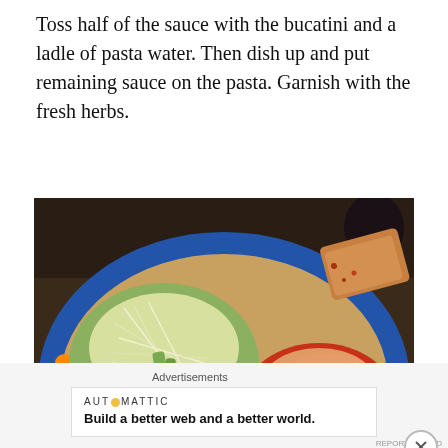Toss half of the sauce with the bucatini and a ladle of pasta water. Then dish up and put remaining sauce on the pasta. Garnish with the fresh herbs.
[Figure (photo): A decorative ceramic plate with bucatini pasta topped with tomato sauce and grated parmesan cheese, alongside a salad with shredded cheese, and a slice of garlic bread in the background.]
Advertisements
AUTOMATTIC
Build a better web and a better world.